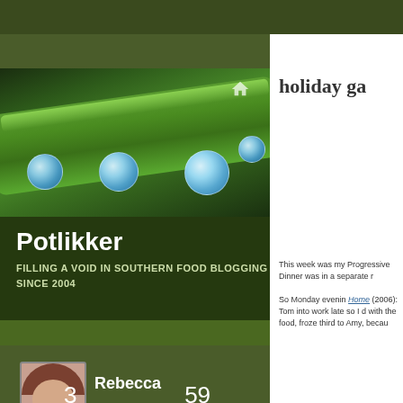[Figure (photo): Close-up photo of water droplets on a green leaf/stem, dark green background]
Potlikker
FILLING A VOID IN SOUTHERN FOOD BLOGGING SINCE 2004
[Figure (photo): Profile photo of Rebecca, a woman with reddish-brown hair]
Rebecca
3 FOLLOWING
59 FOLLOWERS
holiday ga
This week was my Progressive Dinner was in a separate r
So Monday evenin Home (2006): Tom into work late so I d with the food, froze third to Amy, becau